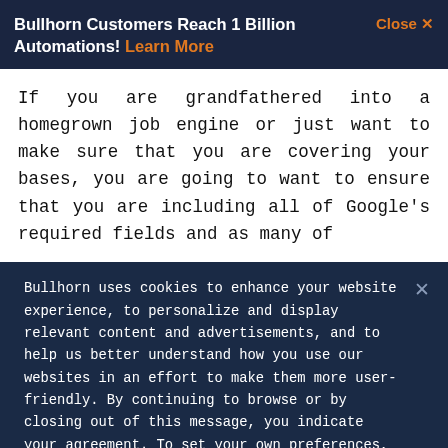Bullhorn Customers Reach 1 Billion Automations! Learn More
If you are grandfathered into a homegrown job engine or just want to make sure that you are covering your bases, you are going to want to ensure that you are including all of Google's required fields and as many of
Bullhorn uses cookies to enhance your website experience, to personalize and display relevant content and advertisements, and to help us better understand how you use our websites in an effort to make them more user-friendly. By continuing to browse or by closing out of this message, you indicate your agreement. To set your own preferences, click "Cookie Settings" and you can learn more about the cookies we use by reviewing our cookie policy.
Cookies Settings